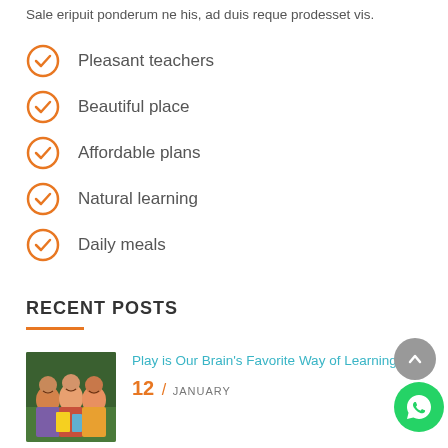Sale eripuit ponderum ne his, ad duis reque prodesset vis.
Pleasant teachers
Beautiful place
Affordable plans
Natural learning
Daily meals
RECENT POSTS
[Figure (photo): Three children smiling, holding books, standing together in a school setting]
Play is Our Brain's Favorite Way of Learning
12 / JANUARY